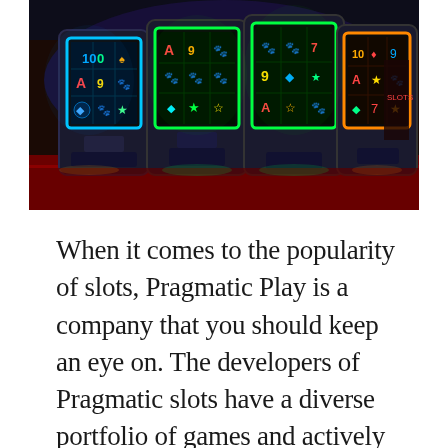[Figure (photo): Photograph of a row of colorful casino slot machines with bright LED screens showing game symbols (ace, 9, paw prints, etc.) in a casino setting with red carpet.]
When it comes to the popularity of slots, Pragmatic Play is a company that you should keep an eye on. The developers of Pragmatic slots have a diverse portfolio of games and actively promote them on several different channels. Their promotions include promo campaigns, traditional affiliates, and streamers. Their success can be attributed to their dedication to getting their products in front of the widest audience possible. The company has a number of hit slots in its portfolio and is actively promoting their